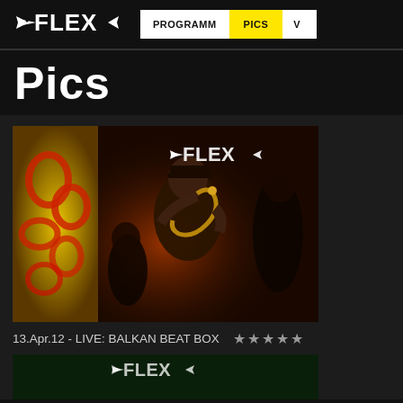FLEX — PROGRAMM | PICS | V...
Pics
[Figure (photo): Concert photo at FLEX venue: saxophonist on stage with warm red/orange lighting, FLEX logo watermark visible in upper right, dark atmospheric venue setting]
13.Apr.12 - LIVE: BALKAN BEAT BOX ★★★★★
[Figure (photo): Partially visible second concert photo with green tint, FLEX logo watermark visible]